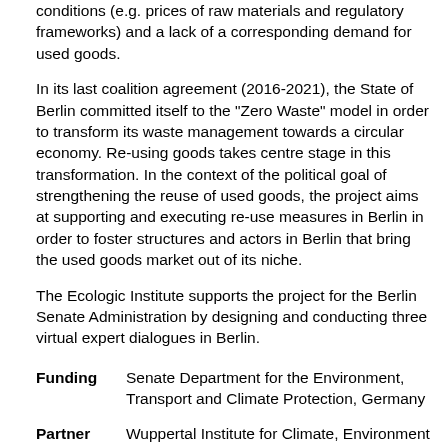conditions (e.g. prices of raw materials and regulatory frameworks) and a lack of a corresponding demand for used goods.
In its last coalition agreement (2016-2021), the State of Berlin committed itself to the "Zero Waste" model in order to transform its waste management towards a circular economy. Re-using goods takes centre stage in this transformation. In the context of the political goal of strengthening the reuse of used goods, the project aims at supporting and executing re-use measures in Berlin in order to foster structures and actors in Berlin that bring the used goods market out of its niche.
The Ecologic Institute supports the project for the Berlin Senate Administration by designing and conducting three virtual expert dialogues in Berlin.
Funding: Senate Department for the Environment, Transport and Climate Protection, Germany
Partner: Wuppertal Institute for Climate, Environment and Energy (Wuppertal Institute), Germany; Ecologic Institute, Germany; Institute for Futures Studies and Technology